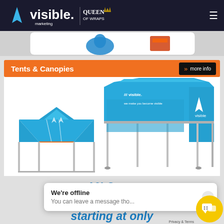Visible Marketing | Queen of Wraps
[Figure (screenshot): Partial product images strip — appears to show inflatable/display products partially visible]
Tents & Canopies
[Figure (photo): Two custom branded tents/canopies in blue with Visible Marketing logo — a large 10x20 style tent with back wall and a smaller 10x10 pop-up canopy]
10' Cus... Fabr... starting at only
We're offline
You can leave a message tho...